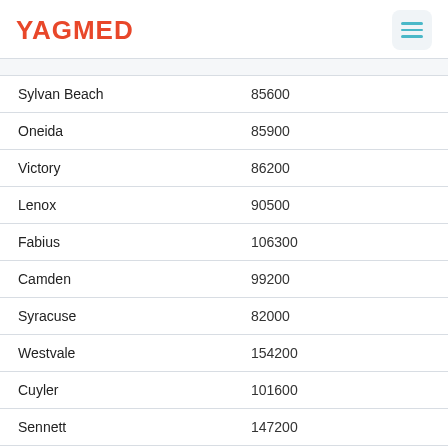YAGMED
| Sylvan Beach | 85600 |
| Oneida | 85900 |
| Victory | 86200 |
| Lenox | 90500 |
| Fabius | 106300 |
| Camden | 99200 |
| Syracuse | 82000 |
| Westvale | 154200 |
| Cuyler | 101600 |
| Sennett | 147200 |